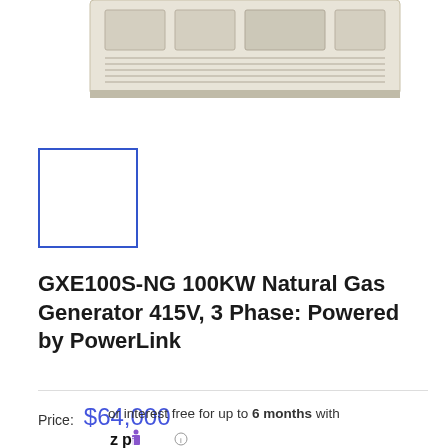[Figure (photo): Partial top view of a generator unit, light beige/cream colored metal enclosure with vents and components visible at the bottom of the image.]
[Figure (photo): Thumbnail placeholder box with blue border, appears empty/white inside, representing a product thumbnail image selector.]
GXE100S-NG 100KW Natural Gas Generator 415V, 3 Phase: Powered by PowerLink
Price: $64,000
or interest free for up to 6 months with
[Figure (logo): ZIP logo — bold black text 'zip' with a purple dot above the 'i', followed by a small info icon circle.]